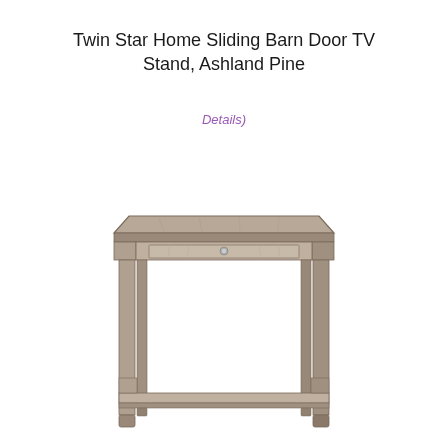Twin Star Home Sliding Barn Door TV Stand, Ashland Pine
Details)
[Figure (photo): A small end table / side table in an Ashland Pine (grey-brown wood) finish. The table has a flat top, one drawer with a round knob pull, four straight tapered legs, and a lower open shelf near the bottom. The overall style is rustic/farmhouse.]